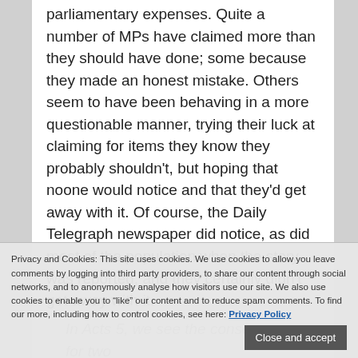parliamentary expenses. Quite a number of MPs have claimed more than they should have done; some because they made an honest mistake. Others seem to have been behaving in a more questionable manner, trying their luck at claiming for items they know they probably shouldn't, but hoping that noone would notice and that they'd get away with it. Of course, the Daily Telegraph newspaper did notice, as did most of the population when the story was reported, and they certainly didn't get away with it.
In Acts 5, we see the consequences for two people who try to cheat God in a similar way. They claim to have given all the proceeds from a land sale to the church, but actually they have withheld some, hoping that noone would notice. They were unfortunate, because God noticed! The same thing happens to them as does...
Privacy and Cookies: This site uses cookies. We use cookies to allow you leave comments by logging into third party providers, to share our content through social networks, and to anonymously analyse how visitors use our site. We also use cookies to enable you to "like" our content and to reduce spam comments. To find our more, including how to control cookies, see here: Privacy Policy